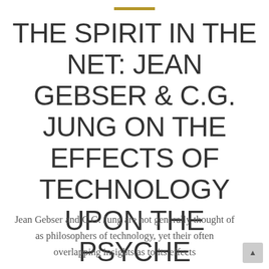THE SPIRIT IN THE NET: JEAN GEBSER & C.G. JUNG ON THE EFFECTS OF TECHNOLOGY UPON THE PSYCHE
Jean Gebser and C.G. Jung are not generally thought of as philosophers of technology, yet their often overlapping insights as to its effects